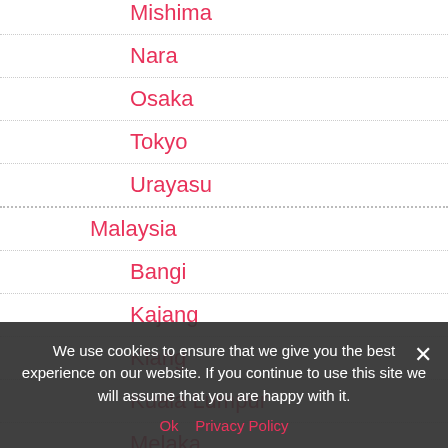Mishima
Nara
Osaka
Tokyo
Urayasu
Malaysia
Bangi
Kajang
Klang
Kuala Lumpur
Melaka
Petaling Jaya
Shah Alam
We use cookies to ensure that we give you the best experience on our website. If you continue to use this site we will assume that you are happy with it.
Ok  Privacy Policy